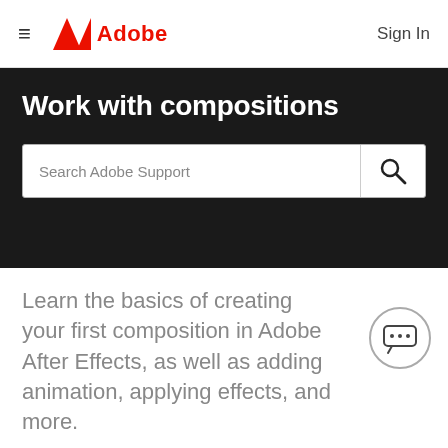Adobe — Sign In
Work with compositions
Search Adobe Support
Learn the basics of creating your first composition in Adobe After Effects, as well as adding animation, applying effects, and more.
WHAT YOU'LL NEED